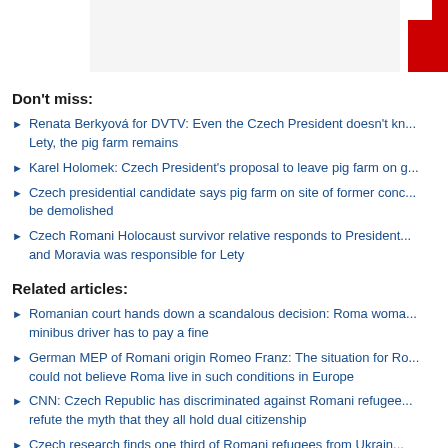[Figure (other): Top banner with gray background area and red logo/mark in upper right corner]
Don't miss:
Renata Berkyová for DVTV: Even the Czech President doesn't kn... Lety, the pig farm remains
Karel Holomek: Czech President's proposal to leave pig farm on g...
Czech presidential candidate says pig farm on site of former conc... be demolished
Czech Romani Holocaust survivor relative responds to President... and Moravia was responsible for Lety
Related articles:
Romanian court hands down a scandalous decision: Roma woma... minibus driver has to pay a fine
German MEP of Romani origin Romeo Franz: The situation for Ro... could not believe Roma live in such conditions in Europe
CNN: Czech Republic has discriminated against Romani refugee... refute the myth that they all hold dual citizenship
Czech research finds one third of Romani refugees from Ukrain...